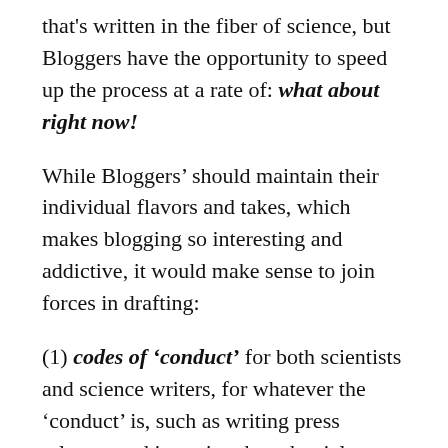that's written in the fiber of science, but Bloggers have the opportunity to speed up the process at a rate of: what about right now!
While Bloggers' should maintain their individual flavors and takes, which makes blogging so interesting and addictive, it would make sense to join forces in drafting:
(1) codes of 'conduct' for both scientists and science writers, for whatever the 'conduct' is, such as writing press releases and interview-based articles.
(2) principles of basic 'sciences', whatever the 'sciences' of interest might be (e.g. Evolution,